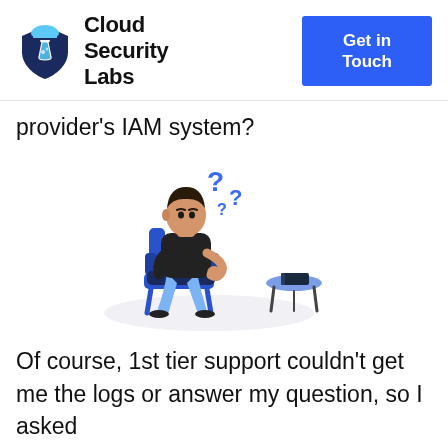Cloud Security Labs | Get in Touch
provider's IAM system?
[Figure (illustration): Isometric illustration of a person sitting in a chair thinking, with blue question marks floating above, and a small table with a book beside them.]
Of course, 1st tier support couldn't get me the logs or answer my question, so I asked for the security team. Thankfully for us and